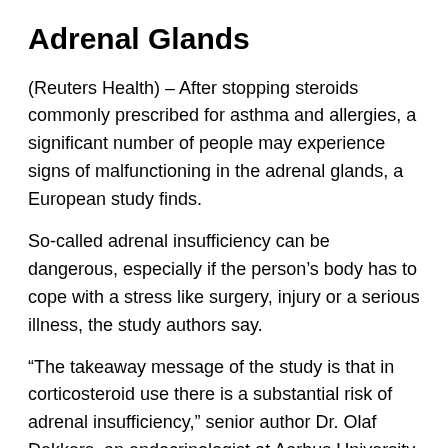Adrenal Glands
(Reuters Health) – After stopping steroids commonly prescribed for asthma and allergies, a significant number of people may experience signs of malfunctioning in the adrenal glands, a European study finds.
So-called adrenal insufficiency can be dangerous, especially if the person's body has to cope with a stress like surgery, injury or a serious illness, the study authors say.
“The takeaway message of the study is that in corticosteroid use there is a substantial risk of adrenal insufficiency,” senior author Dr. Olaf Dekkers, an endocrinologist at Aarhus University in Denmark, said by email. “Patients should be aware of this risk and be